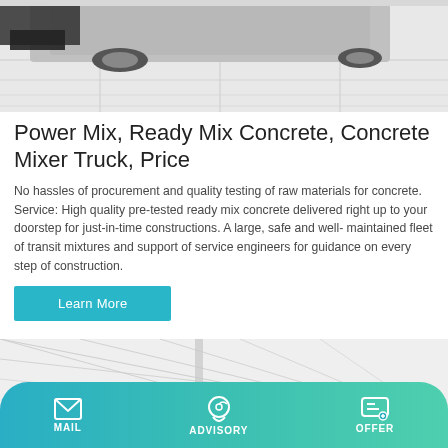[Figure (photo): Top portion of a concrete mixer truck on a tiled floor, partially cropped at top]
Power Mix, Ready Mix Concrete, Concrete Mixer Truck, Price
No hassles of procurement and quality testing of raw materials for concrete. Service: High quality pre-tested ready mix concrete delivered right up to your doorstep for just-in-time constructions. A large, safe and well- maintained fleet of transit mixtures and support of service engineers for guidance on every step of construction.
Learn More
[Figure (photo): Bottom portion showing a building interior with glass ceiling structure, partially visible equipment]
MAIL   ADVISORY   OFFER